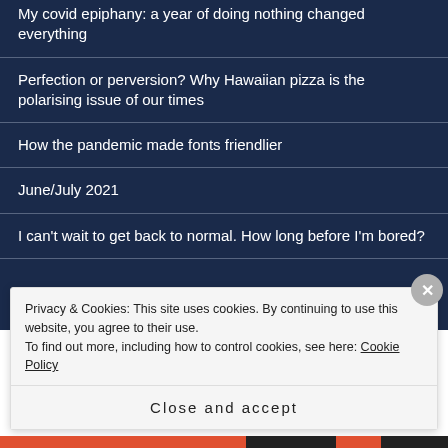My covid epiphany: a year of doing nothing changed everything
Perfection or perversion? Why Hawaiian pizza is the polarising issue of our times
How the pandemic made fonts friendlier
June/July 2021
I can't wait to get back to normal. How long before I'm bored?
Privacy & Cookies: This site uses cookies. By continuing to use this website, you agree to their use.
To find out more, including how to control cookies, see here: Cookie Policy
Close and accept